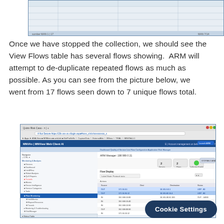[Figure (screenshot): Top portion of a web application screenshot showing a table with rows and columns, partially visible at the top of the page]
Once we have stopped the collection, we should see the View Flows table has several flows showing.  ARM will attempt to de-duplicate repeated flows as much as possible. As you can see from the picture below, we went from 17 flows seen down to 7 unique flows total.
[Figure (screenshot): Screenshot of a web browser showing the ARM/MN-View Web Client interface with Application Risk Manager showing Flow Monitoring page with a table listing 7 unique flows with source, destination, and status information]
Cookie Settings